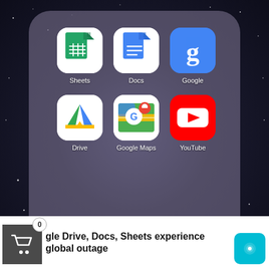[Figure (screenshot): Android phone screenshot showing a Google apps folder open with 6 app icons: Sheets, Docs, Google, Drive, Google Maps, YouTube. Below is a news notification bar showing '0' badge on a cart icon and the headline 'gle Drive, Docs, Sheets experience global outage' with a teal icon on the right.]